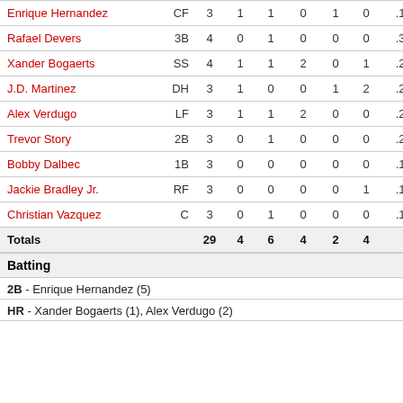| Player | Pos | AB | R | H | RBI | BB | SO | AVG |
| --- | --- | --- | --- | --- | --- | --- | --- | --- |
| Enrique Hernandez | CF | 3 | 1 | 1 | 0 | 1 | 0 | .182 |
| Rafael Devers | 3B | 4 | 0 | 1 | 0 | 0 | 0 | .353 |
| Xander Bogaerts | SS | 4 | 1 | 1 | 2 | 0 | 1 | .222 |
| J.D. Martinez | DH | 3 | 1 | 0 | 0 | 1 | 2 | .241 |
| Alex Verdugo | LF | 3 | 1 | 1 | 2 | 0 | 0 | .296 |
| Trevor Story | 2B | 3 | 0 | 1 | 0 | 0 | 0 | .250 |
| Bobby Dalbec | 1B | 3 | 0 | 0 | 0 | 0 | 0 | .154 |
| Jackie Bradley Jr. | RF | 3 | 0 | 0 | 0 | 0 | 1 | .190 |
| Christian Vazquez | C | 3 | 0 | 1 | 0 | 0 | 0 | .150 |
| Totals |  | 29 | 4 | 6 | 4 | 2 | 4 |  |
Batting
2B - Enrique Hernandez (5)
HR - Xander Bogaerts (1), Alex Verdugo (2)